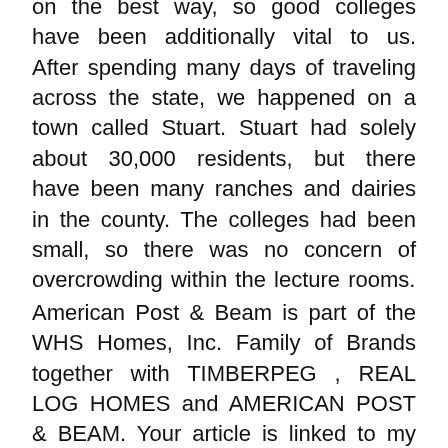on the best way, so good colleges have been additionally vital to us. After spending many days of traveling across the state, we happened on a town called Stuart. Stuart had solely about 30,000 residents, but there have been many ranches and dairies in the county. The colleges had been small, so there was no concern of overcrowding within the lecture rooms.
American Post & Beam is part of the WHS Homes, Inc. Family of Brands together with TIMBERPEG , REAL LOG HOMES and AMERICAN POST & BEAM. Your article is linked to my newest put up on page 1- that is simply so attention-grabbing and I'm so glad this idea is gaining floor! I would increase the scale of the master suite and would use the